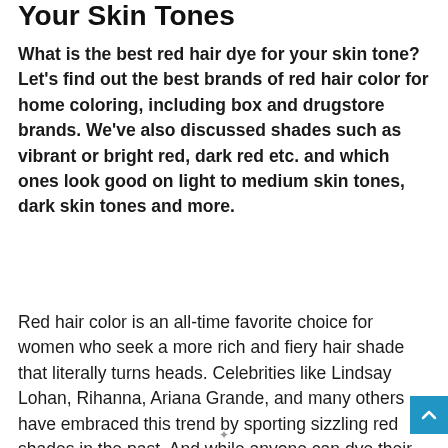Your Skin Tones
What is the best red hair dye for your skin tone? Let's find out the best brands of red hair color for home coloring, including box and drugstore brands. We've also discussed shades such as vibrant or bright red, dark red etc. and which ones look good on light to medium skin tones, dark skin tones and more.
Red hair color is an all-time favorite choice for women who seek a more rich and fiery hair shade that literally turns heads. Celebrities like Lindsay Lohan, Rihanna, Ariana Grande, and many others have embraced this trend by sporting sizzling red shades in the past. And while anyone can dye their